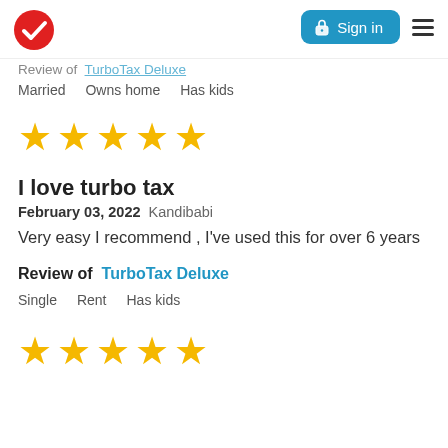[Figure (logo): Red circle with white checkmark (TurboTax/Intuit logo)]
[Figure (screenshot): Blue 'Sign in' button with lock icon, and hamburger menu icon]
Review of  TurboTax Deluxe (partially visible, clipped at top)
Married   Owns home   Has kids
[Figure (other): Five gold stars rating]
I love turbo tax
February 03, 2022 Kandibabi
Very easy I recommend , I've used this for over 6 years
Review of  TurboTax Deluxe
Single   Rent   Has kids
[Figure (other): Five gold stars rating (second review, partially visible)]